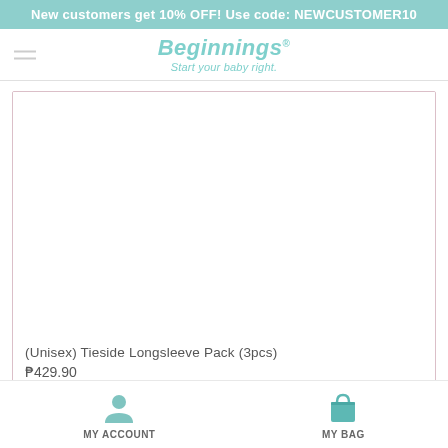New customers get 10% OFF! Use code: NEWCUSTOMER10
[Figure (logo): Beginnings logo with tagline 'Start your baby right.']
[Figure (photo): Product image placeholder for (Unisex) Tieside Longsleeve Pack (3pcs)]
(Unisex) Tieside Longsleeve Pack (3pcs)
₱429.90
MY ACCOUNT   MY BAG